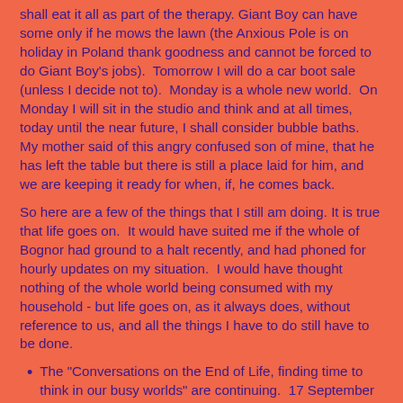shall eat it all as part of the therapy. Giant Boy can have some only if he mows the lawn (the Anxious Pole is on holiday in Poland thank goodness and cannot be forced to do Giant Boy's jobs). Tomorrow I will do a car boot sale (unless I decide not to). Monday is a whole new world. On Monday I will sit in the studio and think and at all times, today until the near future, I shall consider bubble baths. My mother said of this angry confused son of mine, that he has left the table but there is still a place laid for him, and we are keeping it ready for when, if, he comes back.
So here are a few of the things that I still am doing. It is true that life goes on. It would have suited me if the whole of Bognor had ground to a halt recently, and had phoned for hourly updates on my situation. I would have thought nothing of the whole world being consumed with my household - but life goes on, as it always does, without reference to us, and all the things I have to do still have to be done.
The "Conversations on the End of Life, finding time to think in our busy worlds" are continuing. 17 September is the next one here in Bognor, at the